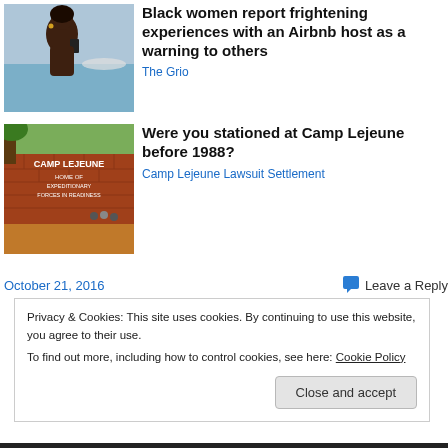[Figure (photo): Black woman in green bikini top holding a phone, beach background]
Black women report frightening experiences with an Airbnb host as a warning to others
The Grio
[Figure (photo): Camp Lejeune entrance sign on brick wall reading CAMP LEJEUNE HOME OF EXPEDITIONARY FORCES IN READINESS]
Were you stationed at Camp Lejeune before 1988?
Camp Lejeune Lawsuit Settlement
October 21, 2016
Leave a Reply
Privacy & Cookies: This site uses cookies. By continuing to use this website, you agree to their use.
To find out more, including how to control cookies, see here: Cookie Policy